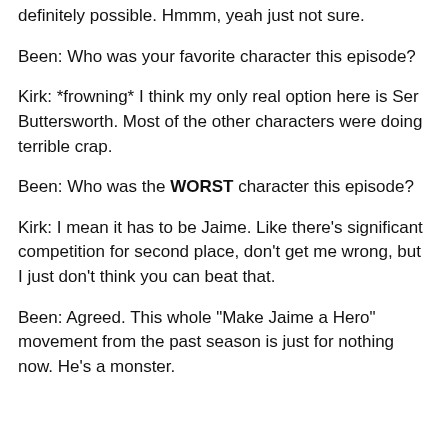definitely possible. Hmmm, yeah just not sure.
Been: Who was your favorite character this episode?
Kirk: *frowning* I think my only real option here is Ser Buttersworth. Most of the other characters were doing terrible crap.
Been: Who was the WORST character this episode?
Kirk: I mean it has to be Jaime. Like there's significant competition for second place, don't get me wrong, but I just don't think you can beat that.
Been: Agreed. This whole "Make Jaime a Hero" movement from the past season is just for nothing now. He's a monster.